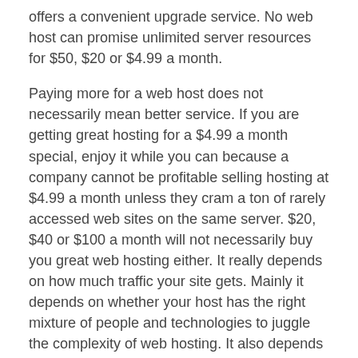offers a convenient upgrade service. No web host can promise unlimited server resources for $50, $20 or $4.99 a month.
Paying more for a web host does not necessarily mean better service. If you are getting great hosting for a $4.99 a month special, enjoy it while you can because a company cannot be profitable selling hosting at $4.99 a month unless they cram a ton of rarely accessed web sites on the same server. $20, $40 or $100 a month will not necessarily buy you great web hosting either. It really depends on how much traffic your site gets. Mainly it depends on whether your host has the right mixture of people and technologies to juggle the complexity of web hosting. It also depends on management making a conscious effort not to oversell their servers to keep their profits up.
Media Temple is the first web host I have found that has demonstrated it has the right stuff. As such, providing they can maintain this high level of quality, they will have a long time customer.
[Figure (infographic): Social sharing buttons: Facebook, Twitter, Email, and Share (plus icon), all in blue rounded square buttons.]